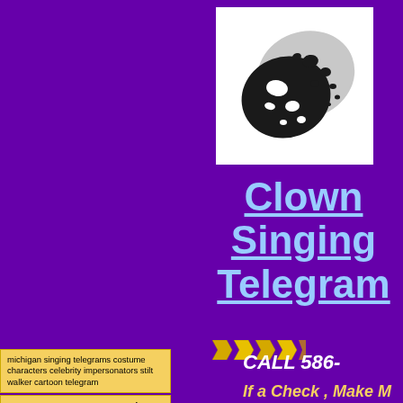[Figure (logo): Abstract swirling yin-yang style clown face logo in black and white/silver with oval holes, on white background]
Clown Singing Telegram
[Figure (other): Four decorative arrow/chevron shapes in gold/yellow pointing right]
michigan singing telegrams costume characters celebrity impersonators stilt walker cartoon telegram
COSTUME CHARACTERS - Look-a-Likes - Kids Birthday Parties Children's Entertainment
SUPER HEROES...............
CALL  586-
If a Check , Make M